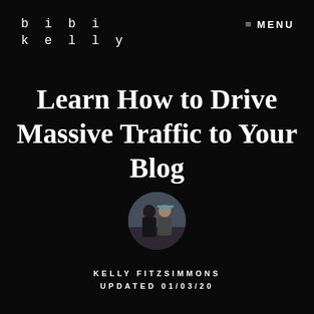bibi kelly
≡ MENU
Learn How to Drive Massive Traffic to Your Blog
[Figure (photo): Circular profile photo of two people (a man and a woman) posing together outdoors]
KELLY FITZSIMMONS
UPDATED 01/03/20